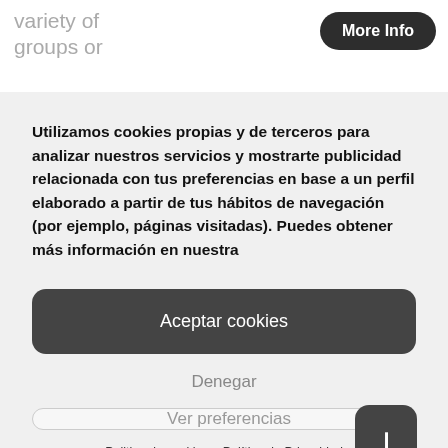variety of groups or
More Info
Utilizamos cookies propias y de terceros para analizar nuestros servicios y mostrarte publicidad relacionada con tus preferencias en base a un perfil elaborado a partir de tus hábitos de navegación (por ejemplo, páginas visitadas). Puedes obtener más información en nuestra
Aceptar cookies
Denegar
Ver preferencias
Politica de cookies
Política de Privacidad